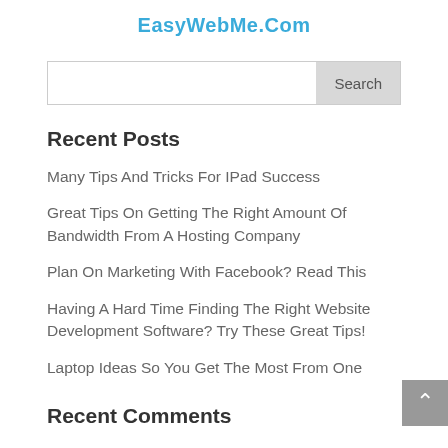EasyWebMe.Com
Search
Recent Posts
Many Tips And Tricks For IPad Success
Great Tips On Getting The Right Amount Of Bandwidth From A Hosting Company
Plan On Marketing With Facebook? Read This
Having A Hard Time Finding The Right Website Development Software? Try These Great Tips!
Laptop Ideas So You Get The Most From One
Recent Comments